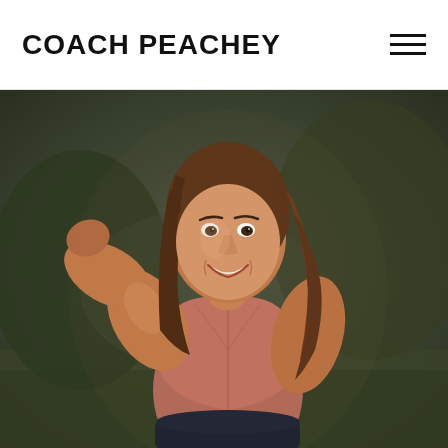COACH PEACHEY
[Figure (photo): A smiling athletic woman with long brown hair wearing a pink/rose sports bra, flexing her right bicep while looking at the camera. She is outdoors with a blurred green natural background.]